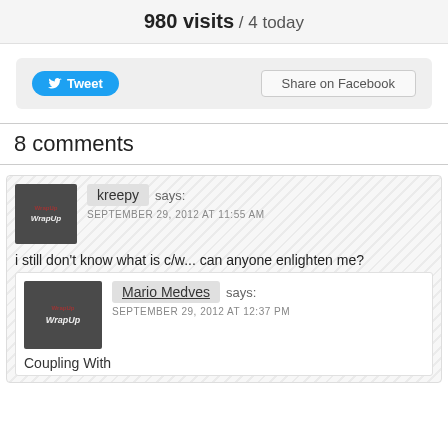980 visits / 4 today
[Figure (screenshot): Tweet button and Share on Facebook button]
8 comments
kreepy says: SEPTEMBER 29, 2012 AT 11:55 AM
i still don't know what is c/w... can anyone enlighten me?
Mario Medves says: SEPTEMBER 29, 2012 AT 12:37 PM
Coupling With